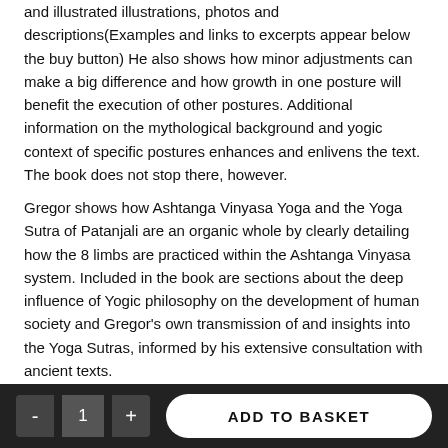and illustrated illustrations, photos and descriptions(Examples and links to excerpts appear below the buy button) He also shows how minor adjustments can make a big difference and how growth in one posture will benefit the execution of other postures. Additional information on the mythological background and yogic context of specific postures enhances and enlivens the text. The book does not stop there, however.
Gregor shows how Ashtanga Vinyasa Yoga and the Yoga Sutra of Patanjali are an organic whole by clearly detailing how the 8 limbs are practiced within the Ashtanga Vinyasa system. Included in the book are sections about the deep influence of Yogic philosophy on the development of human society and Gregor's own transmission of and insights into the Yoga Sutras, informed by his extensive consultation with ancient texts.
This large format paperback book has 300 pages and weighs over 2 pounds. I am sure it will benefit all teachers and students of yoga who read it.